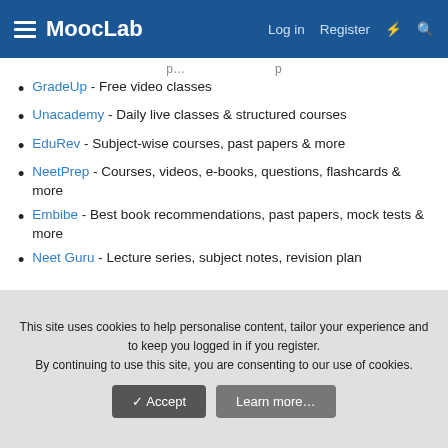MoocLab — Log in   Register
(partial text visible at top — continuation from previous page)
GradeUp - Free video classes
Unacademy - Daily live classes & structured courses
EduRev - Subject-wise courses, past papers & more
NeetPrep - Courses, videos, e-books, questions, flashcards & more
Embibe - Best book recommendations, past papers, mock tests & more
Neet Guru - Lecture series, subject notes, revision plan
Test yourself regularly
Self-assessment is essential to check your knowledge of a topic and evaluate which topics need extra preparation. Below is a list of useful apps you can use to test your knowledge:
This site uses cookies to help personalise content, tailor your experience and to keep you logged in if you register.
By continuing to use this site, you are consenting to our use of cookies.